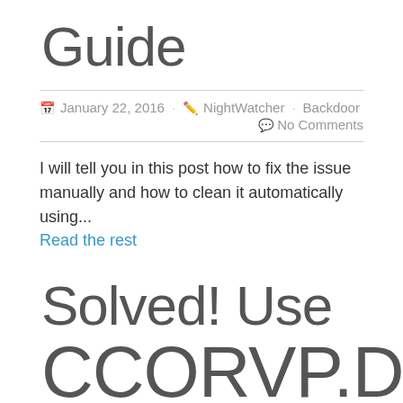Guide
January 22, 2016  NightWatcher  Backdoor  No Comments
I will tell you in this post how to fix the issue manually and how to clean it automatically using...
Read the rest
Solved! Use
CCORVP.DLL